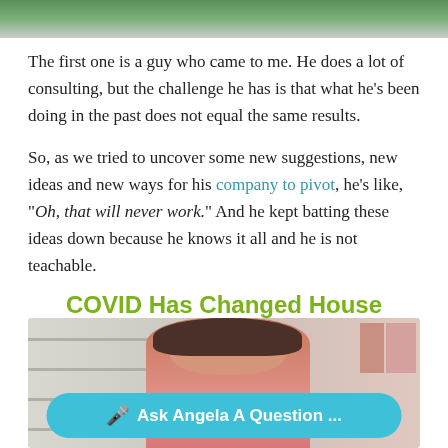[Figure (photo): Top portion of an image showing a person in green, cropped at the top of the page]
The first one is a guy who came to me. He does a lot of consulting, but the challenge he has is that what he's been doing in the past does not equal the same results.
So, as we tried to uncover some new suggestions, new ideas and new ways for his company to pivot, he's like, "Oh, that will never work." And he kept batting these ideas down because he knows it all and he is not teachable.
COVID Has Changed House Cleaning Forever
[Figure (photo): A woman with curly hair looking concerned, standing in front of store shelves that appear empty, wearing a pink jacket]
🎤 Ask Angela A Question ...